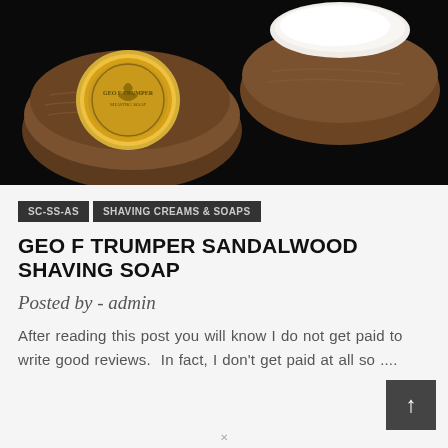[Figure (photo): Photograph of Geo F Trumper shaving soap products — wooden bowls with gold emblem lids on a black background]
SC-SS-AS   SHAVING CREAMS & SOAPS
GEO F TRUMPER SANDALWOOD SHAVING SOAP
Posted by - admin
After reading this post you will know I do not get paid to write good reviews.  In fact, I don't get paid at all so ....